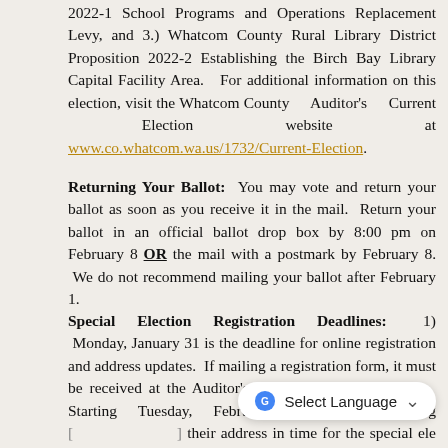2022-1 School Programs and Operations Replacement Levy, and 3.) Whatcom County Rural Library District Proposition 2022-2 Establishing the Birch Bay Library Capital Facility Area.  For additional information on this election, visit the Whatcom County Auditor's Current Election website at www.co.whatcom.wa.us/1732/Current-Election.
Returning Your Ballot:  You may vote and return your ballot as soon as you receive it in the mail.  Return your ballot in an official ballot drop box by 8:00 pm on February 8 OR the mail with a postmark by February 8.  We do not recommend mailing your ballot after February 1.
Special Election Registration Deadlines:   1) Monday, January 31 is the deadline for online registration and address updates.  If mailing a registration form, it must be received at the Auditor's Office by January 31.  2)  Starting Tuesday, February 1 citizens needing [obscured] their address in time for the special ele[obscured] must appear in person at the Whatcom County Auditor's Office.   3)  The